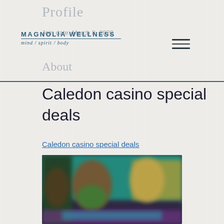Profile
Join date: March 8, 2022
[Figure (logo): Magnolia Wellness logo with text 'MAGNOLIA WELLNESS mind / spirit / body']
About
Caledon casino special deals
Caledon casino special deals
[Figure (photo): Blurred/pixelated image of a casino game screen with colorful slot machine or game graphics]